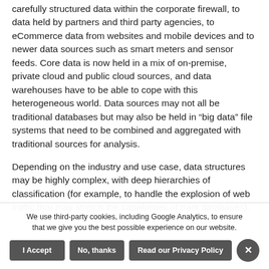carefully structured data within the corporate firewall, to data held by partners and third party agencies, to eCommerce data from websites and mobile devices and to newer data sources such as smart meters and sensor feeds. Core data is now held in a mix of on-premise, private cloud and public cloud sources, and data warehouses have to be able to cope with this heterogeneous world. Data sources may not all be traditional databases but may also be held in “big data” file systems that need to be combined and aggregated with traditional sources for analysis.
Depending on the industry and use case, data structures may be highly complex, with deep hierarchies of classification (for example, to handle the explosion of web traffic that may stretch the capabilities of traditional databases).
We use third-party cookies, including Google Analytics, to ensure that we give you the best possible experience on our website.